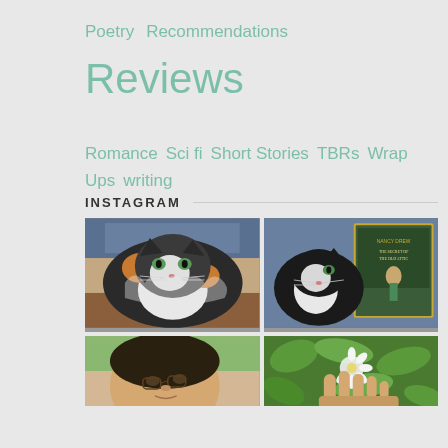Poetry  Recommendations  Reviews  Romance  Sci fi  Short Stories  TBRs  Wrap Ups  writing  Young Adult
INSTAGRAM
[Figure (photo): Two-photo Instagram grid top row: left photo shows a fluffy calico cat resting on denim fabric; right photo shows a black and white cat next to a Nancy Drew book 'The Secret of the Old Attic']
[Figure (photo): Two-photo Instagram grid bottom row (partial): left photo shows a person taking a selfie outdoors; right photo shows a hand holding a small flower with green foliage in background]